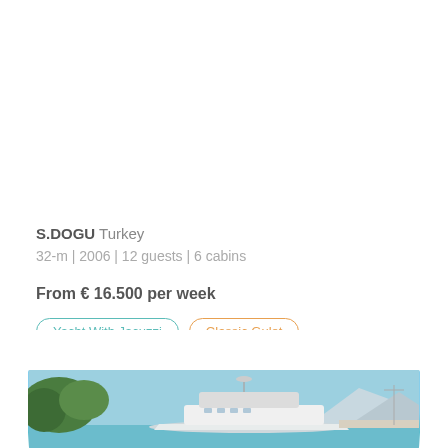S.DOGU Turkey
32-m | 2006 | 12 guests | 6 cabins
From € 16.500 per week
Yacht With Jacuzzi
Classic Gulet
[Figure (photo): A luxury white motor yacht docked at a marina with green trees on the left and mountainous coastline in the background under a clear blue sky.]